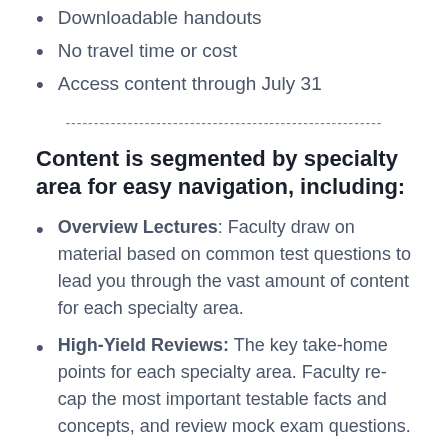Downloadable handouts
No travel time or cost
Access content through July 31
--------------------------------------------------------
Content is segmented by specialty area for easy navigation, including:
Overview Lectures: Faculty draw on material based on common test questions to lead you through the vast amount of content for each specialty area.
High-Yield Reviews: The key take-home points for each specialty area. Faculty re-cap the most important testable facts and concepts, and review mock exam questions.